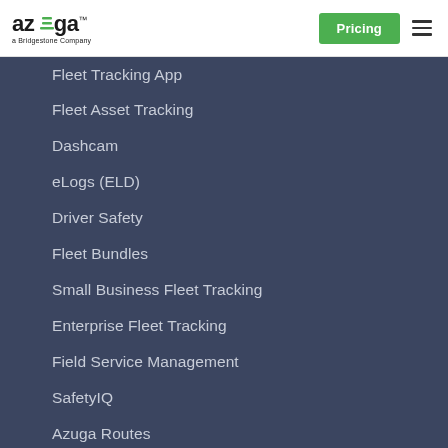Azuga - a Bridgestone Company | Pricing
Fleet Tracking App
Fleet Asset Tracking
Dashcam
eLogs (ELD)
Driver Safety
Fleet Bundles
Small Business Fleet Tracking
Enterprise Fleet Tracking
Field Service Management
SafetyIQ
Azuga Routes
INDUSTRIES
Construction